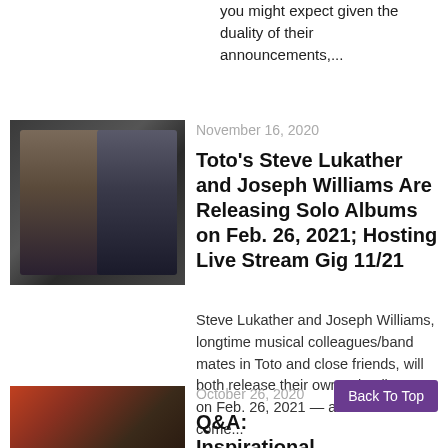you might expect given the duality of their announcements,...
November 16, 2020
[Figure (photo): Two musicians side by side: one with curly hair and glasses, one with a hat and sunglasses, both in dark clothing]
Toto’s Steve Lukather and Joseph Williams Are Releasing Solo Albums on Feb. 26, 2021; Hosting Live Stream Gig 11/21
Steve Lukather and Joseph Williams, longtime musical colleagues/band mates in Toto and close friends, will both release their own solo albums on Feb. 26, 2021 — and it should come...
October 26, 2020
[Figure (photo): Person in a warmly lit room]
Q&A: Inspirational
Back To Top